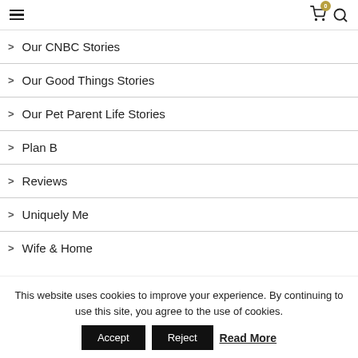hamburger menu, cart icon with badge 0, search icon
Our CNBC Stories
Our Good Things Stories
Our Pet Parent Life Stories
Plan B
Reviews
Uniquely Me
Wife & Home
This website uses cookies to improve your experience. By continuing to use this site, you agree to the use of cookies. Accept Reject Read More